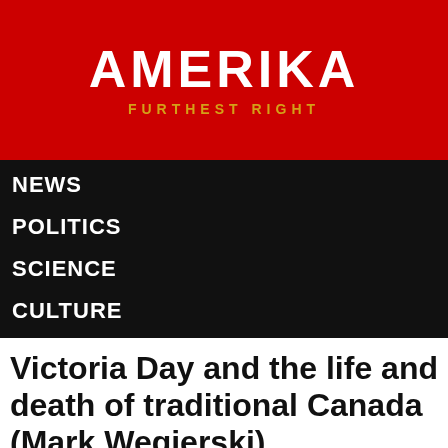AMERIKA FURTHEST RIGHT
NEWS
POLITICS
SCIENCE
CULTURE
Victoria Day and the life and death of traditional Canada (Mark Wegierski)